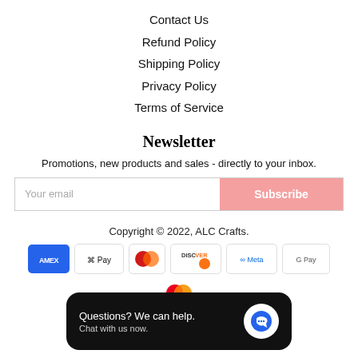Contact Us
Refund Policy
Shipping Policy
Privacy Policy
Terms of Service
Newsletter
Promotions, new products and sales - directly to your inbox.
Your email
Subscribe
Copyright © 2022, ALC Crafts.
[Figure (other): Payment icons: AMEX, Apple Pay, Diners Club, Discover, Meta Pay, Google Pay, Mastercard]
[Figure (screenshot): Chat popup overlay: 'Questions? We can help. Chat with us now.' with blue chat bubble icon on dark background.]